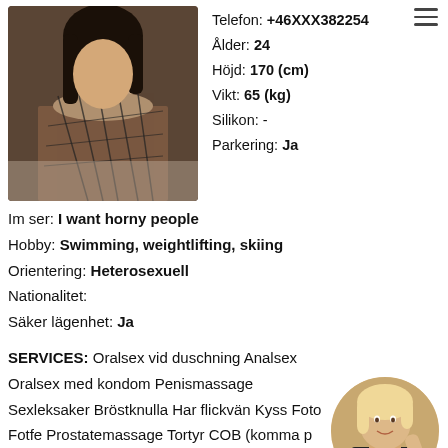[Figure (photo): Main profile photo: person wearing decorative mesh/chain outfit, dark hair, taken indoors]
Telefon: +46XXX382254
Ålder: 24
Höjd: 170 (cm)
Vikt: 65 (kg)
Silikon: -
Parkering: Ja
Im ser: I want horny people
Hobby: Swimming, weightlifting, skiing
Orientering: Heterosexuell
Nationalitet:
Säker lägenhet: Ja
SERVICES: Oralsex vid duschning Analsex Oralsex med kondom Penismassage Sexleksaker Bröstknulla Har flickvän Kyss Foto Fotfe Prostatemassage Tortyr COB (komma p Onani
[Figure (photo): Thumbnail circular photo: person with blonde/light hair, smiling, wearing dark top]